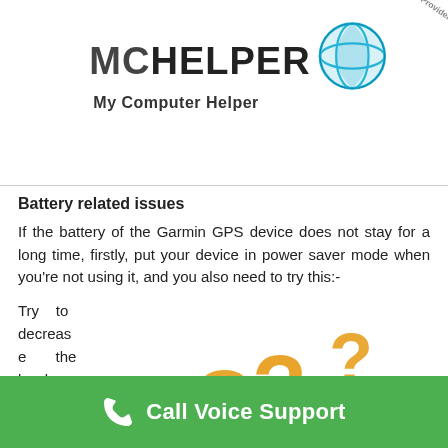[Figure (logo): MCHelper My Computer Helper logo with globe icon and diagonal 'Independent Third Party Service Provider' watermark banner]
Battery related issues
If the battery of the Garmin GPS device does not stay for a long time, firstly, put your device in power saver mode when you're not using it, and you also need to try this:-
Try to decrease the burden on the battery by
[Figure (illustration): 3D illustration of a white figure surrounded by large orange question marks]
Call Voice Support